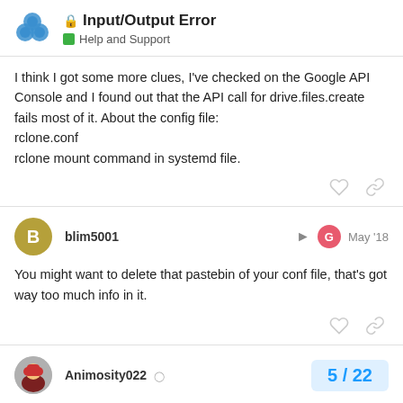Input/Output Error — Help and Support
I think I got some more clues, I've checked on the Google API Console and I found out that the API call for drive.files.create fails most of it. About the config file:
rclone.conf
rclone mount command in systemd file.
blim5001 — May '18
You might want to delete that pastebin of your conf file, that's got way too much info in it.
Animosity022 — 5 / 22